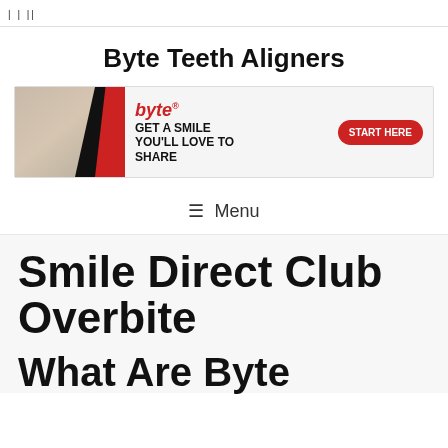|||
Byte Teeth Aligners
[Figure (infographic): Byte teeth aligners advertisement banner showing a woman smiling, the Byte logo in red italic, text 'GET A SMILE YOU'LL LOVE TO SHARE', and a red START HERE button]
☰ Menu
Smile Direct Club Overbite
What Are Byte